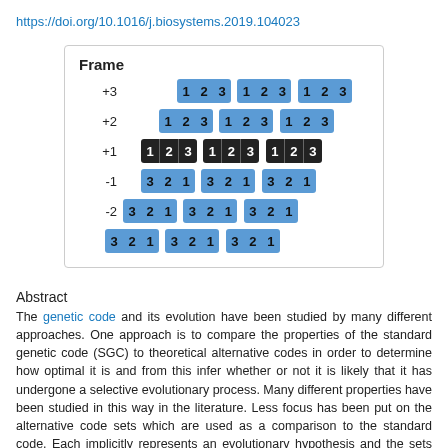https://doi.org/10.1016/j.biosystems.2019.104023
[Figure (illustration): Diagram showing reading frames +3, +2, +1, -1, -2, -3 with codon position numbers (1,2,3) shown in colored blocks. Frame +1 shown with dark/black blocks, others with blue blocks. The frames are offset horizontally to indicate the different reading frame positions.]
Abstract
The genetic code and its evolution have been studied by many different approaches. One approach is to compare the properties of the standard genetic code (SGC) to theoretical alternative codes in order to determine how optimal it is and from this infer whether or not it is likely that it has undergone a selective evolutionary process. Many different properties have been studied in this way in the literature. Less focus has been put on the alternative code sets which are used as a comparison to the standard code. Each implicitly represents an evolutionary hypothesis and the sets used differ greatly across the literature. Here we determine the influence